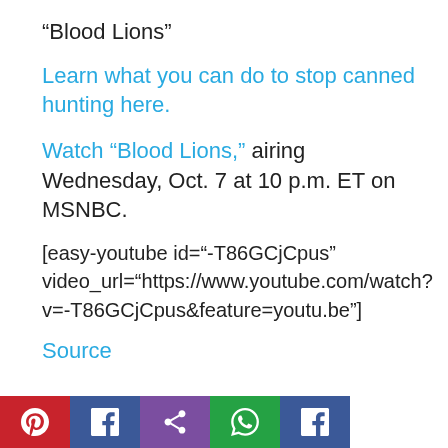“Blood Lions”
Learn what you can do to stop canned hunting here.
Watch “Blood Lions,” airing Wednesday, Oct. 7 at 10 p.m. ET on MSNBC.
[easy-youtube id="-T86GCjCpus" video_url="https://www.youtube.com/watch?v=-T86GCjCpus&feature=youtu.be"]
Source
[Figure (other): Social sharing buttons row: Pinterest (red), Facebook share (blue), phone/share (purple), WhatsApp (green), Facebook (blue)]